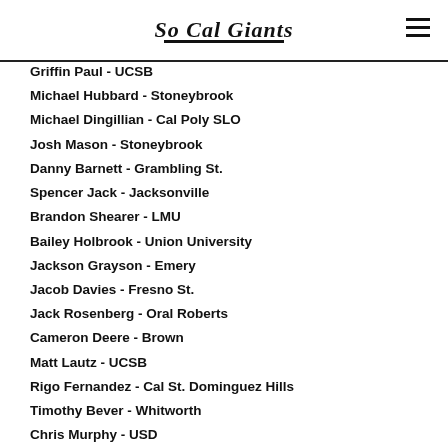So Cal Giants
Griffin Paul - UCSB
Michael Hubbard - Stoneybrook
Michael Dingillian - Cal Poly SLO
Josh Mason - Stoneybrook
Danny Barnett - Grambling St.
Spencer Jack - Jacksonville
Brandon Shearer - LMU
Bailey Holbrook - Union University
Jackson Grayson - Emery
Jacob Davies - Fresno St.
Jack Rosenberg - Oral Roberts
Cameron Deere - Brown
Matt Lautz - UCSB
Rigo Fernandez - Cal St. Dominguez Hills
Timothy Bever - Whitworth
Chris Murphy - USD
Matthew Bever - Brown